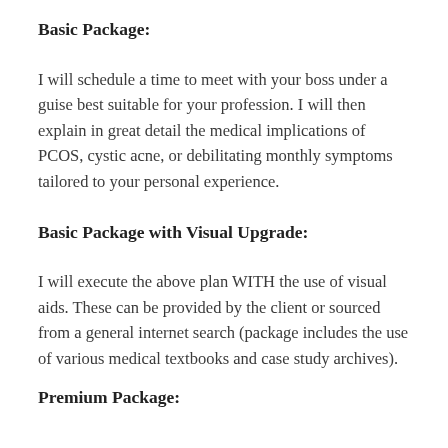Basic Package:
I will schedule a time to meet with your boss under a guise best suitable for your profession. I will then explain in great detail the medical implications of PCOS, cystic acne, or debilitating monthly symptoms tailored to your personal experience.
Basic Package with Visual Upgrade:
I will execute the above plan WITH the use of visual aids. These can be provided by the client or sourced from a general internet search (package includes the use of various medical textbooks and case study archives).
Premium Package: